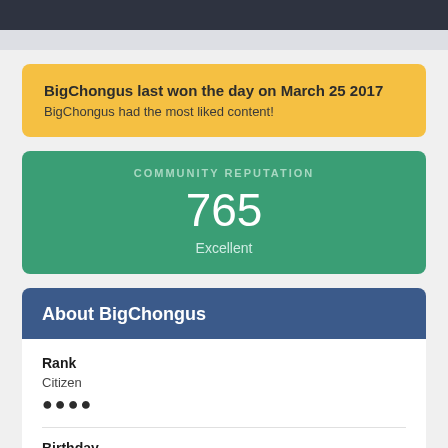BigChongus last won the day on March 25 2017
BigChongus had the most liked content!
COMMUNITY REPUTATION
765
Excellent
About BigChongus
Rank
Citizen
●●●●
Birthday